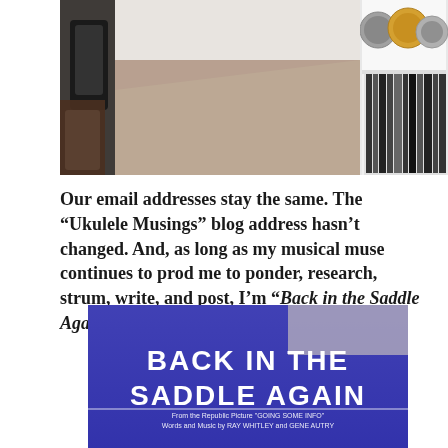[Figure (photo): Indoor photo showing a carpeted room floor with beige/tan carpet, a white shelf unit in the background with various round objects/drums on top and books/records on the right side, and dark items including what appears to be a bag or instrument case on the left.]
Our email addresses stay the same.  The “Ukulele Musings” blog address hasn’t changed.  And, as long as my musical muse continues to prod me to ponder, research, strum, write, and post,  I’m “Back in the Saddle Again!”
[Figure (photo): Photo of sheet music cover with a blue/purple background and bold white text reading 'BACK IN THE SADDLE AGAIN', with smaller text below reading 'From the Republic Picture GOING SOME INFO' and 'Words and Music by RAY WHITLEY and GENE AUTRY'.]